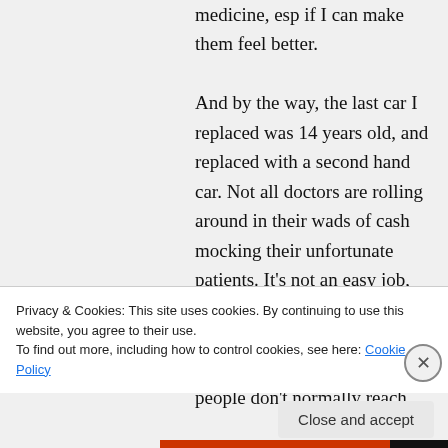medicine, esp if I can make them feel better.
And by the way, the last car I replaced was 14 years old, and replaced with a second hand car. Not all doctors are rolling around in their wads of cash mocking their unfortunate patients. It's not an easy job, and to do it well you have to be patient, caring, attentive and hardworking to a degree most people don't normally reach.
Almost everyone I know in the field tries
Privacy & Cookies: This site uses cookies. By continuing to use this website, you agree to their use.
To find out more, including how to control cookies, see here: Cookie Policy
Close and accept